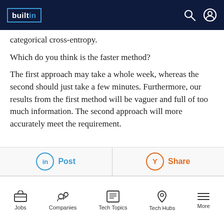builtin
categorical cross-entropy.
Which do you think is the faster method?
The first approach may take a whole week, whereas the second should just take a few minutes. Furthermore, our results from the first method will be vaguer and full of too much information. The second approach will more accurately meet the requirement.
Post | Share | Jobs | Companies | Tech Topics | Tech Hubs | More